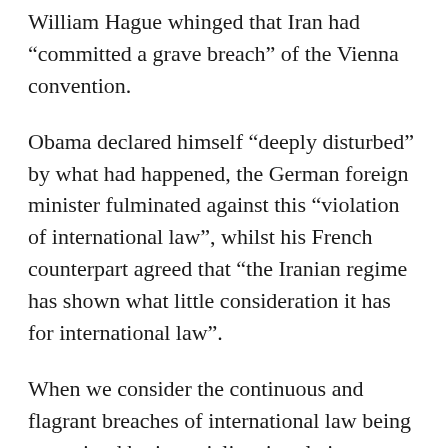William Hague whinged that Iran had “committed a grave breach” of the Vienna convention.
Obama declared himself “deeply disturbed” by what had happened, the German foreign minister fulminated against this “violation of international law”, whilst his French counterpart agreed that “the Iranian regime has shown what little consideration it has for international law”.
When we consider the continuous and flagrant breaches of international law being committed by imperialism in relation to Iran, with or without the cloak of UN “legitimacy”, it is not hard to comprehend the rage which this arouses in the patriotic youth. So far from acting as the simple agents of the government, as the western media pretend, the demonstrators in the end could only be restrained by the government’s own security